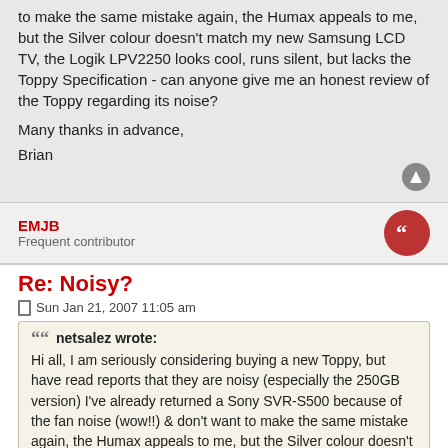to make the same mistake again, the Humax appeals to me, but the Silver colour doesn't match my new Samsung LCD TV, the Logik LPV2250 looks cool, runs silent, but lacks the Toppy Specification - can anyone give me an honest review of the Toppy regarding its noise?
Many thanks in advance,
Brian
EMJB
Frequent contributor
Re: Noisy?
Sun Jan 21, 2007 11:05 am
netsalez wrote:
Hi all, I am seriously considering buying a new Toppy, but have read reports that they are noisy (especially the 250GB version) I've already returned a Sony SVR-S500 because of the fan noise (wow!!) & don't want to make the same mistake again, the Humax appeals to me, but the Silver colour doesn't match my new Samsung LCD TV, the Logik LPV2250 looks cool, runs silent, but lacks the Toppy Specification - can anyone give me an honest review of the Toppy regarding its noise?